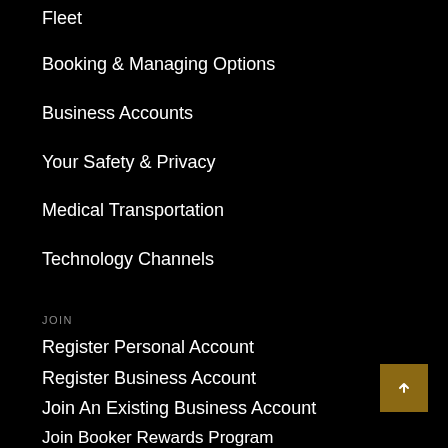Fleet
Booking & Managing Options
Business Accounts
Your Safety & Privacy
Medical Transportation
Technology Channels
JOIN
Register Personal Account
Register Business Account
Join An Existing Business Account
Join Booker Rewards Program
Refer a Friend